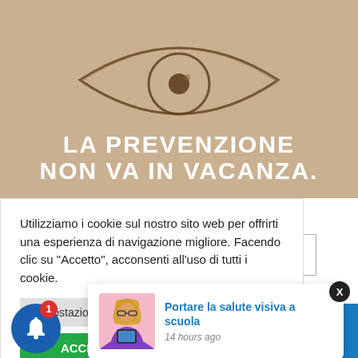[Figure (illustration): Sandy beige background with an eye drawn in sand, and bold white italic text reading 'LA PREVENZIONE NON VA IN VACANZA.']
Utilizziamo i cookie sul nostro sito web per offrirti una esperienza di navigazione migliore. Facendo clic su "Accetto", acconsenti all'uso di tutti i cookie.
Impostazione
ACCETTO
[Figure (photo): Woman adjusting glasses while holding a tablet, pink background]
Portare la salute visiva a scuola
14 hours ago